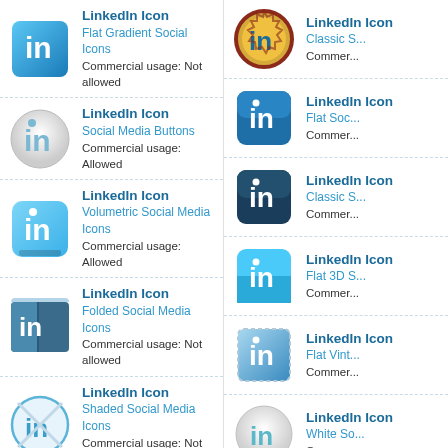[Figure (illustration): LinkedIn Icon - Flat Gradient Social Icons, left column row 1]
LinkedIn Icon
Flat Gradient Social Icons
Commercial usage: Not allowed
[Figure (illustration): LinkedIn Icon - Classic style badge, right column row 1]
LinkedIn Icon
Classic S...
Commer...
[Figure (illustration): LinkedIn Icon - Social Media Buttons (grey circle), left column row 2]
LinkedIn Icon
Social Media Buttons
Commercial usage: Allowed
[Figure (illustration): LinkedIn Icon - Flat Social (rounded square dark blue), right column row 2]
LinkedIn Icon
Flat Soc...
Commer...
[Figure (illustration): LinkedIn Icon - Volumetric Social Media Icons (light blue square), left column row 3]
LinkedIn Icon
Volumetric Social Media Icons
Commercial usage: Allowed
[Figure (illustration): LinkedIn Icon - Classic Social (dark navy square), right column row 3]
LinkedIn Icon
Classic S...
Commer...
[Figure (illustration): LinkedIn Icon - Folded Social Media Icons, left column row 4]
LinkedIn Icon
Folded Social Media Icons
Commercial usage: Not allowed
[Figure (illustration): LinkedIn Icon - Flat 3D (light blue square), right column row 4]
LinkedIn Icon
Flat 3D S...
Commer...
[Figure (illustration): LinkedIn Icon - Shaded Social Media Icons (circle with cross), left column row 5]
LinkedIn Icon
Shaded Social Media Icons
Commercial usage: Not allowed
[Figure (illustration): LinkedIn Icon - Flat Vintage (dotted border square), right column row 5]
LinkedIn Icon
Flat Vint...
Commer...
[Figure (illustration): LinkedIn Icon - Flower Social Media Icons, left column row 6]
LinkedIn Icon
Flower Social Media Icons
Commercial usage: Allowed
[Figure (illustration): LinkedIn Icon - White Social (grey circle), right column row 6]
LinkedIn Icon
White So...
Commer...
[Figure (illustration): LinkedIn Icon - partial row 7, left column]
LinkedIn Icon
[Figure (illustration): LinkedIn Icon - partial row 7, right column]
Linked...